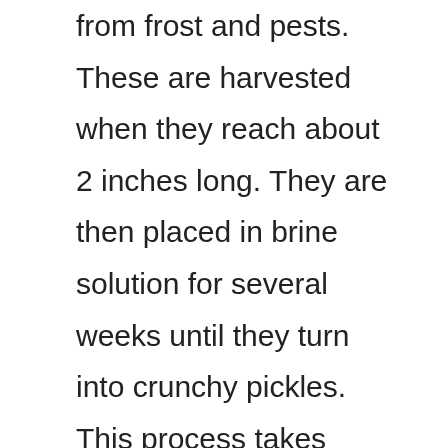from frost and pests. These are harvested when they reach about 2 inches long. They are then placed in brine solution for several weeks until they turn into crunchy pickles. This process takes anywhere from 3 to 6 weeks depending on the type of cucumber and the length of time it spends in the brine. To store these pickles, place them in glass jars with lids and refrigerate. They will last for several